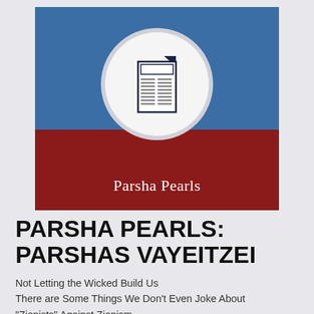[Figure (logo): Parsha Pearls podcast/newsletter logo: blue and dark red banner with a circular newspaper icon and the text 'Parsha Pearls' in white serif font]
PARSHA PEARLS: PARSHAS VAYEITZEI
Not Letting the Wicked Build Us
There are Some Things We Don't Even Joke About
"Zionists" Against Zionism...